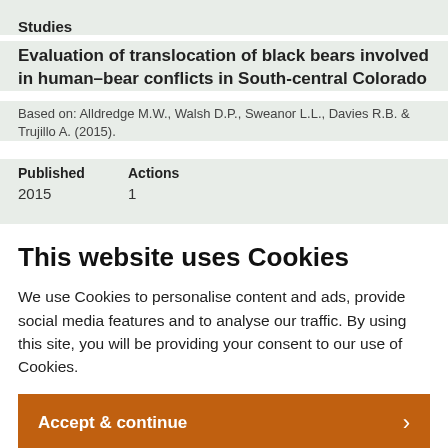Studies
Evaluation of translocation of black bears involved in human–bear conflicts in South-central Colorado
Based on: Alldredge M.W., Walsh D.P., Sweanor L.L., Davies R.B. & Trujillo A. (2015).
| Published | Actions |
| --- | --- |
| 2015 | 1 |
This website uses Cookies
We use Cookies to personalise content and ads, provide social media features and to analyse our traffic. By using this site, you will be providing your consent to our use of Cookies.
Accept & continue